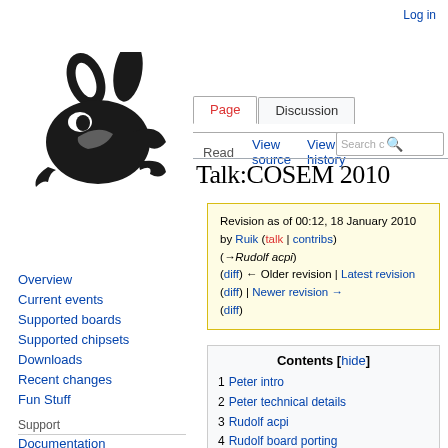Log in
[Figure (logo): coreboot rabbit logo in black silhouette]
Page | Discussion | Read | View source | View history | Search
Talk:COSEM 2010
Revision as of 00:12, 18 January 2010 by Ruik (talk | contribs)
(→Rudolf acpi)
(diff) ← Older revision | Latest revision (diff) | Newer revision → (diff)
Contents [hide]
1 Peter intro
2 Peter technical details
3 Rudolf acpi
4 Rudolf board porting
5 Carl-Daniel flashrom
6 Luc board enable reverse engineering
Overview
Current events
Supported boards
Supported chipsets
Downloads
Recent changes
Fun Stuff
Support
Documentation
Board status pages
Issue tracker
Mailinglist
IRC